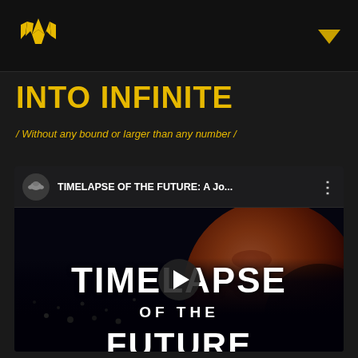INTO INFINITE — site header with logo and dropdown
INTO INFINITE
/ Without any bound or larger than any number /
[Figure (screenshot): Embedded YouTube video player showing 'TIMELAPSE OF THE FUTURE: A Jo...' with a Mars planet background and large white text 'TIMELAPSE OF THE FUTURE' with a play button overlay]